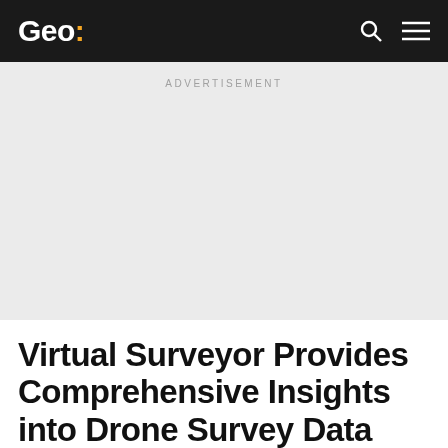Geo:
ADVERTISEMENT
Virtual Surveyor Provides Comprehensive Insights into Drone Survey Data with